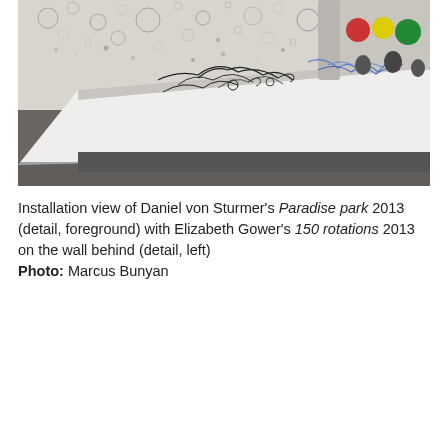[Figure (photo): Installation view photograph showing a large white table surface with black wire sculptures/drawings on top. The gallery wall in the background shows circular dot patterns. Visitors are partially visible in the upper right. The scene appears to be in a contemporary art gallery.]
Installation view of Daniel von Sturmer's Paradise park 2013 (detail, foreground) with Elizabeth Gower's 150 rotations 2013 on the wall behind (detail, left) Photo: Marcus Bunyan